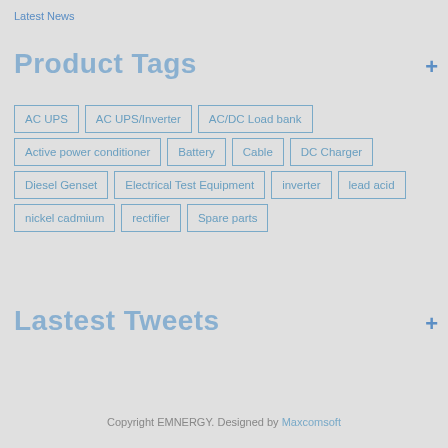Latest News
Product Tags
AC UPS
AC UPS/Inverter
AC/DC Load bank
Active power conditioner
Battery
Cable
DC Charger
Diesel Genset
Electrical Test Equipment
inverter
lead acid
nickel cadmium
rectifier
Spare parts
Lastest Tweets
Copyright EMNERGY. Designed by Maxcomsoft